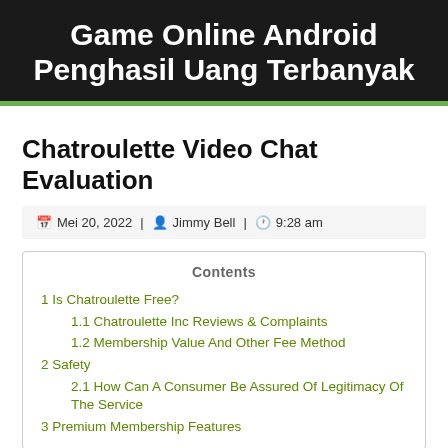Game Online Android Penghasil Uang Terbanyak
Chatroulette Video Chat Evaluation
Mei 20, 2022 | Jimmy Bell | 9:28 am
1 Is Chatroulette Free?
1.1 Chatroulette Inc Reviews & Complaints
1.2 Membership Value And Other Fee Method
2 Safety
2.1 How Can A Consumer Be Assured Of Legitimacy Of The Service
3 Premium Membership Features
Yes, Chatroulette continues to be operating and